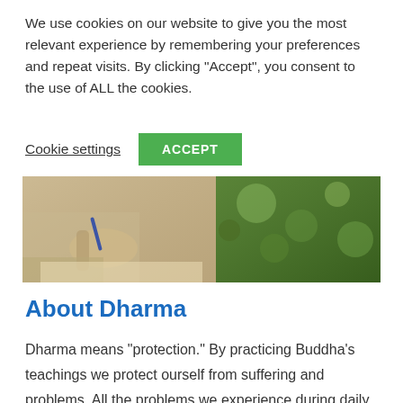We use cookies on our website to give you the most relevant experience by remembering your preferences and repeat visits. By clicking “Accept”, you consent to the use of ALL the cookies.
Cookie settings
ACCEPT
[Figure (photo): A person writing in a notebook, with green foliage visible on the right side of the image.]
About Dharma
Dharma means “protection.” By practicing Buddha’s teachings we protect ourself from suffering and problems. All the problems we experience during daily life originate in ignorance, and the method for